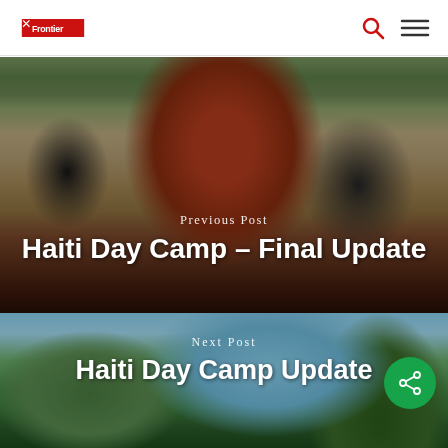Frontier [logo] navigation bar with search and menu icons
[Figure (photo): Child in red ROCKERS shirt making finger-gun gesture, close-up photo used as Previous Post background]
Previous Post
Haiti Day Camp – Final Update
[Figure (photo): Scenic photo of mountains and palm trees used as Next Post background]
Next Post
Haiti Day Camp Update